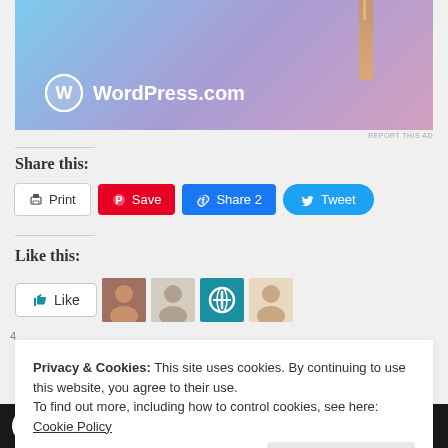[Figure (screenshot): WordPress.com advertisement banner with gradient blue-purple-pink background and WordPress logo]
REPORT THIS AD
Share this:
Print
Save
Share 2
Tweet
Like this:
[Figure (screenshot): Like button and user avatars]
Privacy & Cookies: This site uses cookies. By continuing to use this website, you agree to their use.
To find out more, including how to control cookies, see here: Cookie Policy
Close and accept
[Figure (screenshot): Bottom advertisement bar: course with WordPress - Learn More]